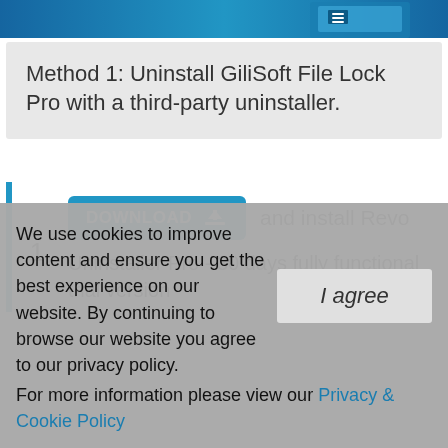[Figure (screenshot): Top blue banner with software box image]
Method 1: Uninstall GiliSoft File Lock Pro with a third-party uninstaller.
DOWNLOAD and install Revo Uninstaller Pro - 30 days fully functional trial version
We use cookies to improve content and ensure you get the best experience on our website. By continuing to browse our website you agree to our privacy policy. For more information please view our Privacy & Cookie Policy